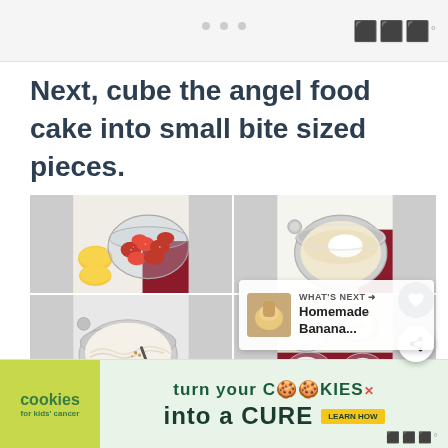Next, cube the angel food cake into small bite sized pieces.
[Figure (photo): Four-photo grid: top-left shows sliced strawberries in a glass bowl with lemon halves and red cloth; top-right shows a mixing bowl with cream and powdered sugar; bottom-left shows whipped cream mixture in a silver bowl; bottom-right shows small clear bowls with strawberries, banana pieces, and cream pieces on red cloth.]
WHAT'S NEXT → Homemade Banana...
cookies for kids' cancer — turn your COOKIES into a CURE LEARN HOW